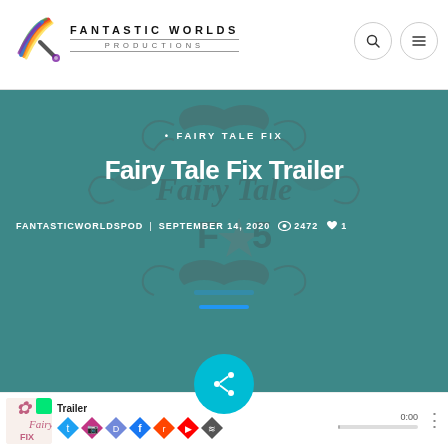FANTASTIC WORLDS PRODUCTIONS
• FAIRY TALE FIX
Fairy Tale Fix Trailer
FANTASTICWORLDSPOD   SEPTEMBER 14, 2020   👁 2472   ♥ 1
[Figure (screenshot): Share button (cyan circle with share icon)]
[Figure (screenshot): Podcast player bar with Fairy Tale Fix logo thumbnail, social media icons (Twitch, Twitter, Instagram, Discord, Facebook, Reddit, YouTube, RSS), Trailer label, time 0:00, and three-dot menu]